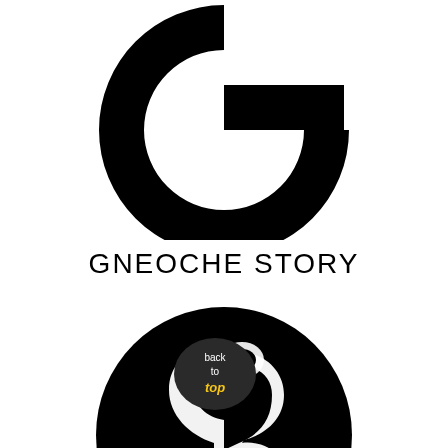[Figure (logo): Large stylized letter G logo in black, showing a thick circular arc open on the right side with a serif cutout forming the G shape. White background.]
GNEOCHE STORY
[Figure (logo): Circular black logo containing a white silhouette of a flexing arm/bicep muscle pose, forming the shape of the number 6 or letter G. Overlaid with a dark circle badge reading 'back to top' in white and yellow italic text.]